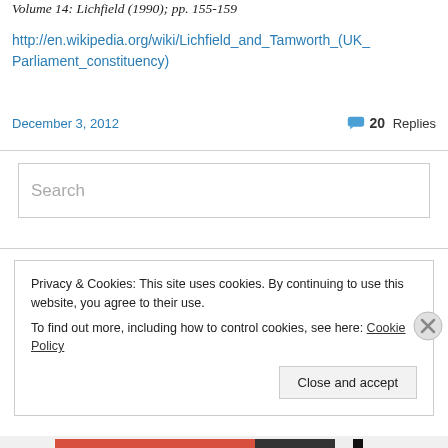Volume 14: Lichfield (1990); pp. 155-159
http://en.wikipedia.org/wiki/Lichfield_and_Tamworth_(UK_Parliament_constituency)
December 3, 2012
20 Replies
Search
Privacy & Cookies: This site uses cookies. By continuing to use this website, you agree to their use.
To find out more, including how to control cookies, see here: Cookie Policy
Close and accept